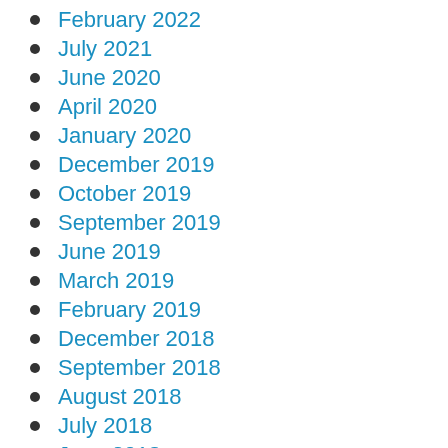February 2022
July 2021
June 2020
April 2020
January 2020
December 2019
October 2019
September 2019
June 2019
March 2019
February 2019
December 2018
September 2018
August 2018
July 2018
June 2018
May 2018